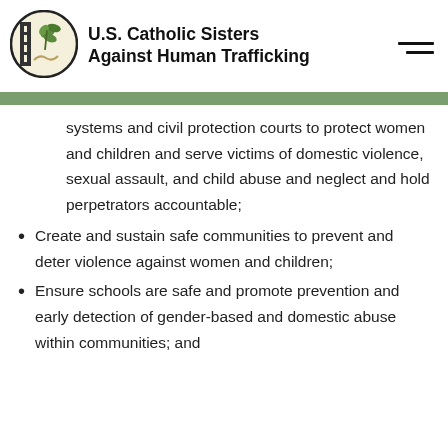[Figure (logo): U.S. Catholic Sisters Against Human Trafficking logo — circular emblem with plant and grid imagery]
U.S. Catholic Sisters Against Human Trafficking
systems and civil protection courts to protect women and children and serve victims of domestic violence, sexual assault, and child abuse and neglect and hold perpetrators accountable;
Create and sustain safe communities to prevent and deter violence against women and children;
Ensure schools are safe and promote prevention and early detection of gender-based and domestic abuse within communities; and